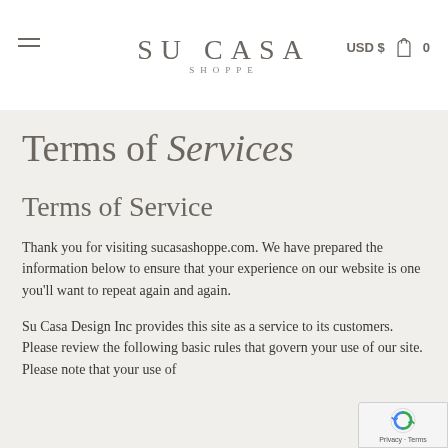SU CASA SHOPPE — USD $ 0
Terms of Services
Terms of Service
Thank you for visiting sucasashoppe.com. We have prepared the information below to ensure that your experience on our website is one you'll want to repeat again and again.
Su Casa Design Inc provides this site as a service to its customers. Please review the following basic rules that govern your use of our site. Please note that your use of